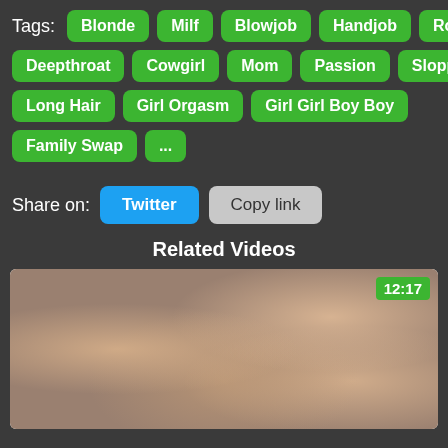Tags: Blonde  Milf  Blowjob  Handjob  Rough  Deepthroat  Cowgirl  Mom  Passion  Sloppy  Long Hair  Girl Orgasm  Girl Girl Boy Boy  Family Swap  ...
Share on: Twitter  Copy link
Related Videos
[Figure (photo): Video thumbnail showing two couples, duration 12:17, with green timestamp badge in top right corner]